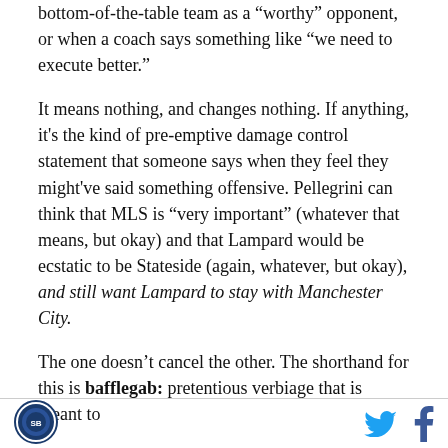bottom-of-the-table team as a "worthy" opponent, or when a coach says something like "we need to execute better."
It means nothing, and changes nothing. If anything, it's the kind of pre-emptive damage control statement that someone says when they feel they might've said something offensive. Pellegrini can think that MLS is "very important" (whatever that means, but okay) and that Lampard would be ecstatic to be Stateside (again, whatever, but okay), and still want Lampard to stay with Manchester City.
The one doesn't cancel the other. The shorthand for this is bafflegab: pretentious verbiage that is meant to
[Figure (logo): Circular logo with blue border and emblem inside]